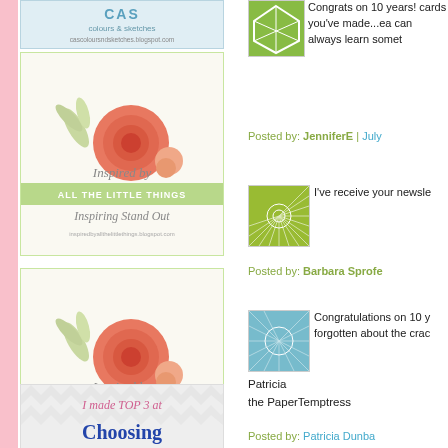[Figure (logo): CAS Colours and Sketches blog badge with URL cascolourssandsketches.blogspot.com]
[Figure (logo): Inspired by All the Little Things - Inspiring Stand Out blog badge with floral design]
[Figure (logo): Inspired by All the Little Things - Inspiring Stand Out blog badge with floral design (second instance)]
[Figure (logo): I made TOP 3 at Choosing badge with chevron background]
[Figure (photo): Green geometric avatar thumbnail]
Congrats on 10 years! cards you've made...ea can always learn somet
Posted by: JenniferE | July
[Figure (photo): Green sunburst pattern avatar thumbnail]
I've receive your newsle
Posted by: Barbara Sprofe
[Figure (photo): Blue textured avatar thumbnail]
Congratulations on 10 y forgotten about the crac
Patricia
the PaperTemptress
Posted by: Patricia Dunba